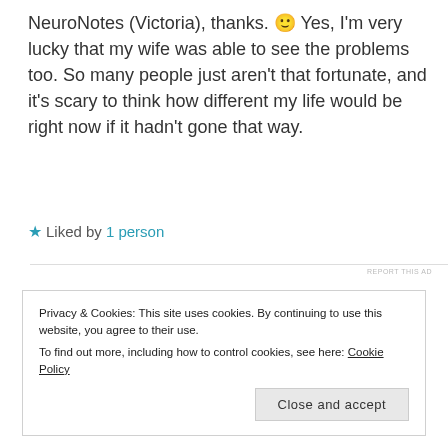NeuroNotes (Victoria), thanks. 🙂 Yes, I'm very lucky that my wife was able to see the problems too. So many people just aren't that fortunate, and it's scary to think how different my life would be right now if it hadn't gone that way.
★ Liked by 1 person
REPORT THIS AD
Privacy & Cookies: This site uses cookies. By continuing to use this website, you agree to their use. To find out more, including how to control cookies, see here: Cookie Policy
Close and accept